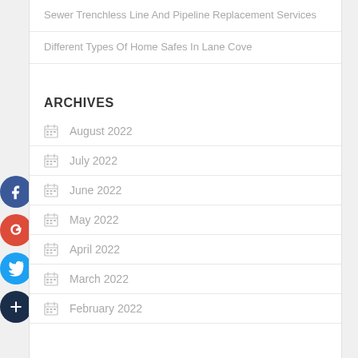Sewer Trenchless Line And Pipeline Replacement Services
Different Types Of Home Safes In Lane Cove
ARCHIVES
August 2022
July 2022
June 2022
May 2022
April 2022
March 2022
February 2022